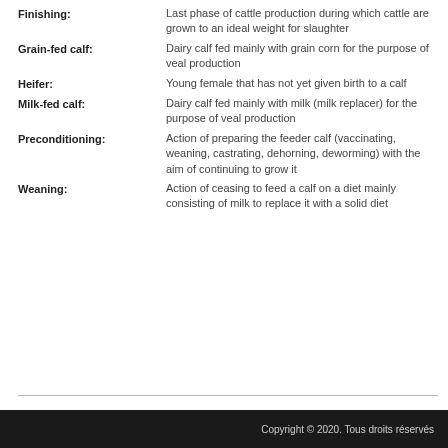Finishing: Last phase of cattle production during which cattle are grown to an ideal weight for slaughter
Grain-fed calf: Dairy calf fed mainly with grain corn for the purpose of veal production
Heifer: Young female that has not yet given birth to a calf
Milk-fed calf: Dairy calf fed mainly with milk (milk replacer) for the purpose of veal production
Preconditioning: Action of preparing the feeder calf (vaccinating, weaning, castrating, dehorning, deworming) with the aim of continuing to grow it
Weaning: Action of ceasing to feed a calf on a diet mainly consisting of milk to replace it with a solid diet
Copyright © 2020. Tous droits réservés